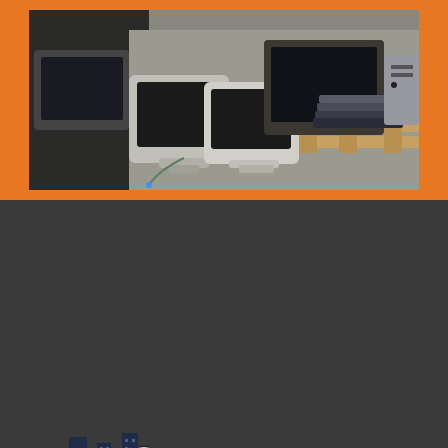[Figure (photo): Pile of old discarded electronics including CRT monitors, televisions, and computer equipment stacked together outdoors]
[Figure (logo): EZ Dallas Junk Removal logo featuring a cartoon man driving a green truck with city skyline silhouette. Text reads 'EZ DALLAS JUNK REMOVAL' in orange and red.]
How To Spring Clean In A Day: 8 Priority Areas To Focus On
How Can the Art Of Tidying Up Help You Fall In Love